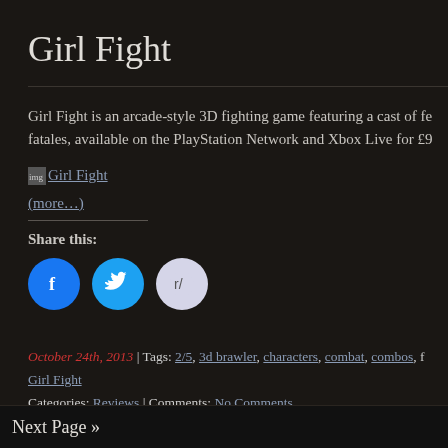Girl Fight
Girl Fight is an arcade-style 3D fighting game featuring a cast of fe... fatales, available on the PlayStation Network and Xbox Live for £9...
[Figure (other): Girl Fight game image thumbnail link]
(more…)
Share this:
[Figure (infographic): Social share buttons: Facebook, Twitter, Reddit]
October 24th, 2013 | Tags: 2/5, 3d brawler, characters, combat, combos, f... Girl Fight
Categories: Reviews | Comments: No Comments
Next Page »